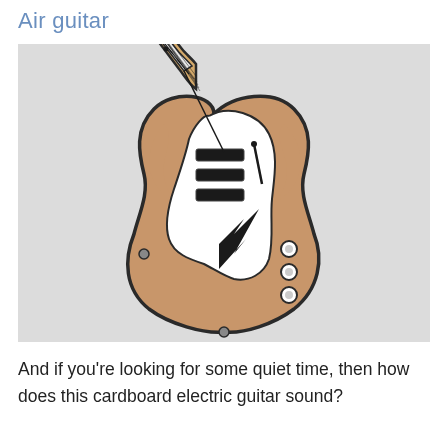Air guitar
[Figure (photo): A cardboard electric guitar craft, Stratocaster-style, made from brown cardboard with a white pickguard painted on. The guitar has a black lightning bolt design on the lower body, three knob circles, and a detailed fretboard with frets and dots drawn in black. Photographed on a light grey background.]
And if you're looking for some quiet time, then how does this cardboard electric guitar sound?